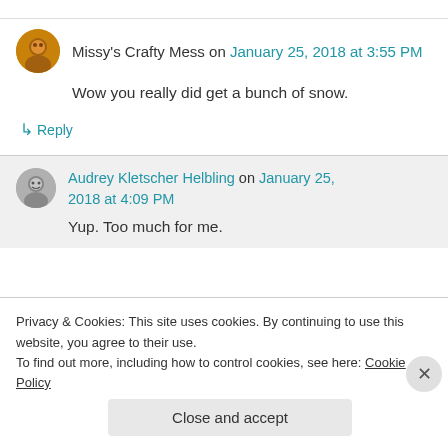Missy's Crafty Mess on January 25, 2018 at 3:55 PM
Wow you really did get a bunch of snow.
↳ Reply
Audrey Kletscher Helbling on January 25, 2018 at 4:09 PM
Yup. Too much for me.
Privacy & Cookies: This site uses cookies. By continuing to use this website, you agree to their use.
To find out more, including how to control cookies, see here: Cookie Policy
Close and accept